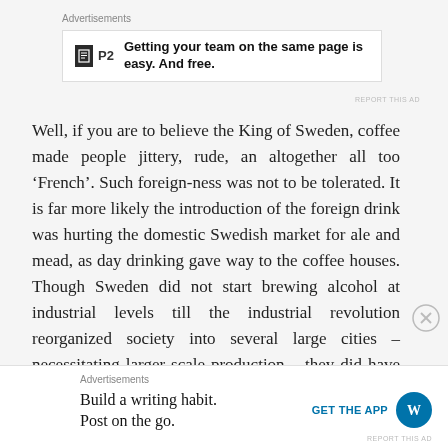Advertisements
[Figure (other): P2 advertisement banner: logo with 'P2' text and bold headline 'Getting your team on the same page is easy. And free.']
Well, if you are to believe the King of Sweden, coffee made people jittery, rude, an altogether all too ‘French’. Such foreign-ness was not to be tolerated. It is far more likely the introduction of the foreign drink was hurting the domestic Swedish market for ale and mead, as day drinking gave way to the coffee houses. Though Sweden did not start brewing alcohol at industrial levels till the industrial revolution reorganized society into several large cities – necessitating larger scale production – they did have many local micro-breweries dotted all over the map. These small businesses suffered. In 1746, in an effort to relieve their suffering, the
Advertisements
Build a writing habit. Post on the go.
GET THE APP